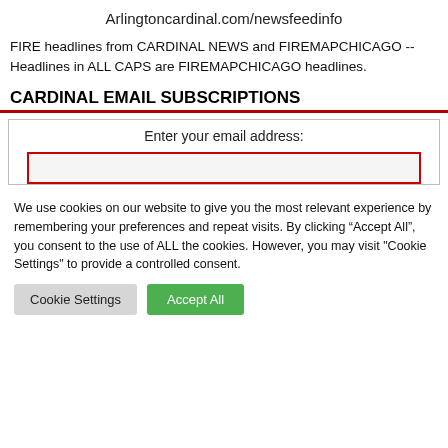Arlingtoncardinal.com/newsfeedinfo
FIRE headlines from CARDINAL NEWS and FIREMAPCHICAGO -- Headlines in ALL CAPS are FIREMAPCHICAGO headlines.
CARDINAL EMAIL SUBSCRIPTIONS
Enter your email address:
We use cookies on our website to give you the most relevant experience by remembering your preferences and repeat visits. By clicking “Accept All”, you consent to the use of ALL the cookies. However, you may visit "Cookie Settings" to provide a controlled consent.